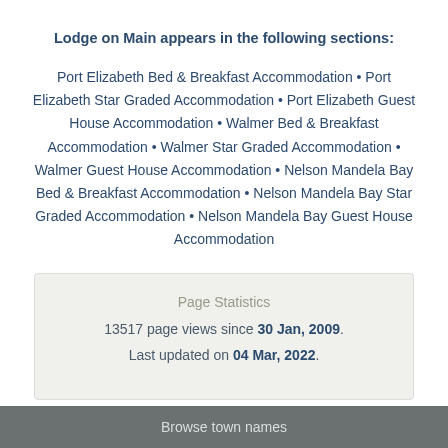Lodge on Main appears in the following sections:
Port Elizabeth Bed & Breakfast Accommodation • Port Elizabeth Star Graded Accommodation • Port Elizabeth Guest House Accommodation • Walmer Bed & Breakfast Accommodation • Walmer Star Graded Accommodation • Walmer Guest House Accommodation • Nelson Mandela Bay Bed & Breakfast Accommodation • Nelson Mandela Bay Star Graded Accommodation • Nelson Mandela Bay Guest House Accommodation
Page Statistics
13517 page views since 30 Jan, 2009.
Last updated on 04 Mar, 2022.
Browse town names